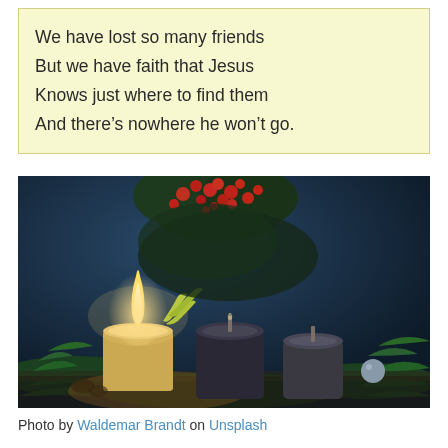We have lost so many friends
But we have faith that Jesus
Knows just where to find them
And there’s nowhere he won’t go.
[Figure (photo): Photo of Advent candles — one lit candle glowing warmly, surrounded by dark pillar candles, green pine branches, small berries, and red flowers against a dark blue background.]
Photo by Waldemar Brandt on Unsplash